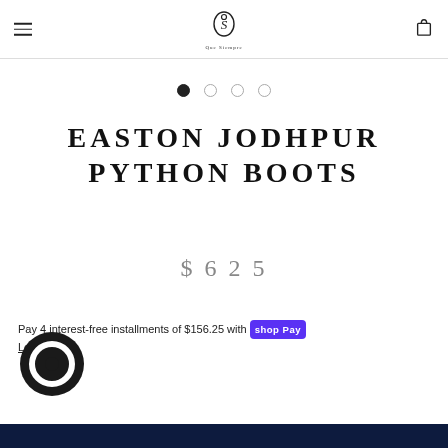Que Siempre (logo) | hamburger menu | cart icon
[Figure (other): Image carousel dot indicators: 4 dots, first filled black, rest outlined]
EASTON JODHPUR PYTHON BOOTS
$625
Pay 4 interest-free installments of $156.25 with Shop Pay
Learn more
[Figure (other): Chat widget circular icon, black ring design]
[Figure (other): Dark navy blue bottom banner/bar]